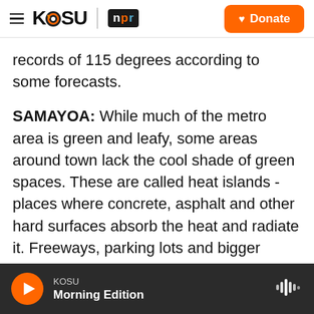KOSU | NPR — Donate
records of 115 degrees according to some forecasts.
SAMAYOA: While much of the metro area is green and leafy, some areas around town lack the cool shade of green spaces. These are called heat islands - places where concrete, asphalt and other hard surfaces absorb the heat and radiate it. Freeways, parking lots and bigger buildings contribute to heat islands. And these islands are often found near communities of color.
When the heat wave hit, Portland State University
KOSU — Morning Edition